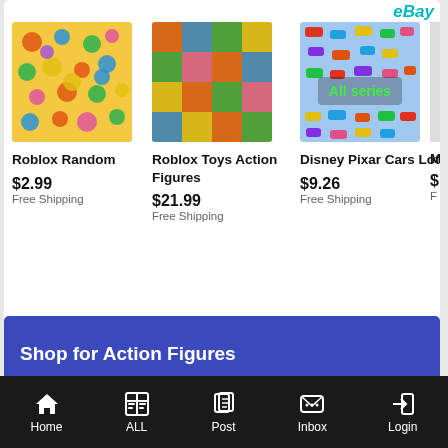[Figure (screenshot): Product listing showing Roblox Random item at $2.99 Free Shipping, Roblox Toys Action Figures at $21.99 Free Shipping, Disney Pixar Cars Lot at $9.26 Free Shipping, and a partially visible fourth item]
Shop for Action Figures
[Figure (logo): BigBadToyStore logo with Transformers image below]
[Figure (screenshot): Toynk.com Shop Now banner in cyan/blue background]
Home  ALL  Post  Inbox  Login